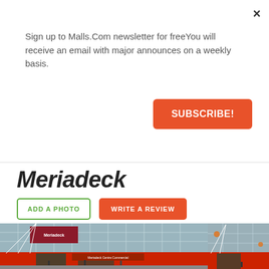Sign up to Malls.Com newsletter for freeYou will receive an email with major announces on a weekly basis.
×
SUBSCRIBE!
Meriadeck
ADD A PHOTO
WRITE A REVIEW
[Figure (photo): Exterior photo of Meriadeck shopping centre showing glass facade with red signage and Meriadeck logo banner]
[Figure (photo): Partial exterior photo of Meriadeck shopping centre showing glass and red structural elements]